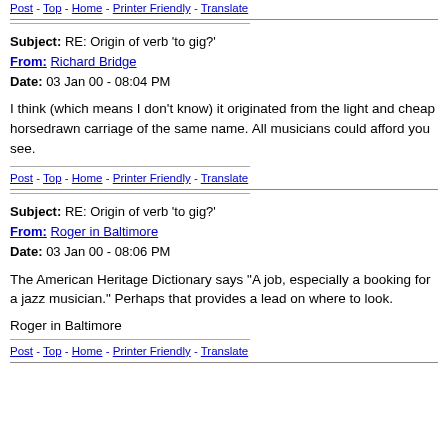Post - Top - Home - Printer Friendly - Translate
Subject: RE: Origin of verb 'to gig?'
From: Richard Bridge
Date: 03 Jan 00 - 08:04 PM
I think (which means I don't know) it originated from the light and cheap horsedrawn carriage of the same name. All musicians could afford you see.
Post - Top - Home - Printer Friendly - Translate
Subject: RE: Origin of verb 'to gig?'
From: Roger in Baltimore
Date: 03 Jan 00 - 08:06 PM
The American Heritage Dictionary says "A job, especially a booking for a jazz musician." Perhaps that provides a lead on where to look.
Roger in Baltimore
Post - Top - Home - Printer Friendly - Translate